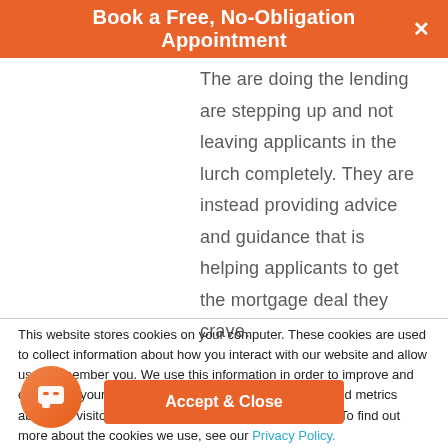Book a Free, No-Obligation Appointment
The are doing the lending are stepping up and not leaving applicants in the lurch completely. They are instead providing advice and guidance that is helping applicants to get the mortgage deal they crave.
This website stores cookies on your computer. These cookies are used to collect information about how you interact with our website and allow us to remember you. We use this information in order to improve and customise your browsing experience and for analytics and metrics about our visitors both on this website and other media. To find out more about the cookies we use, see our Privacy Policy.